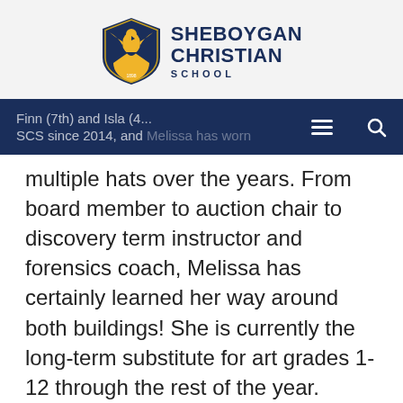[Figure (logo): Sheboygan Christian School logo with shield and eagle, and school name text]
Finn (7th) and Isla (4... SCS since 2014, and Melissa has worn
multiple hats over the years. From board member to auction chair to discovery term instructor and forensics coach, Melissa has certainly learned her way around both buildings! She is currently the long-term substitute for art grades 1-12 through the rest of the year.
Melissa and her husband Brian are an active part of Crossroads Community